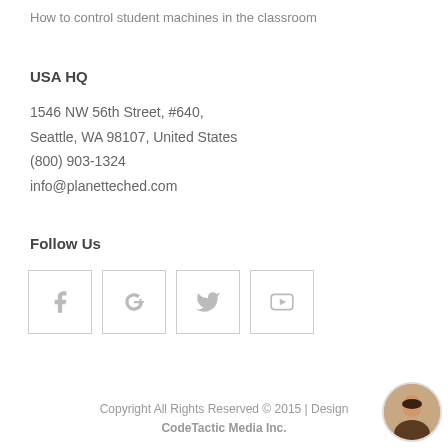How to control student machines in the classroom
USA HQ
1546 NW 56th Street, #640,
Seattle, WA 98107, United States
(800) 903-1324
info@planetteched.com
Follow Us
[Figure (illustration): Four social media icon boxes in a row: Facebook (f), Google+ (g+), Twitter (bird), YouTube (play button)]
Copyright All Rights Reserved © 2015 | Design
CodeTactic Media Inc.